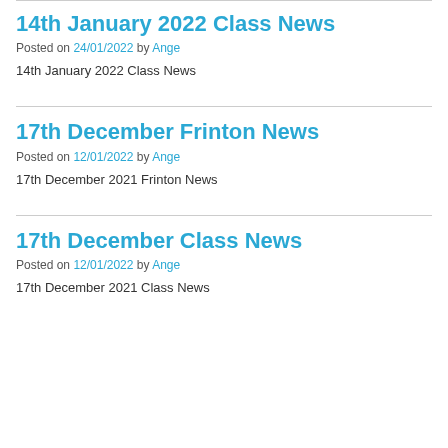14th January 2022 Class News
Posted on 24/01/2022 by Ange
14th January 2022 Class News
17th December Frinton News
Posted on 12/01/2022 by Ange
17th December 2021 Frinton News
17th December Class News
Posted on 12/01/2022 by Ange
17th December 2021 Class News